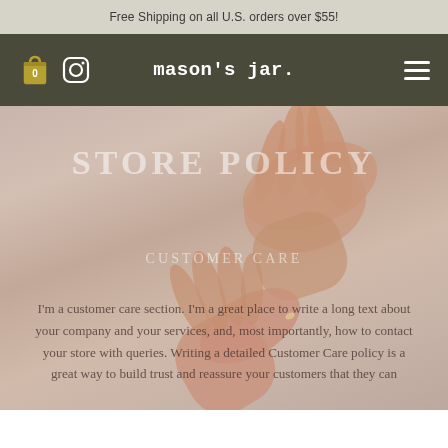Free Shipping on all U.S. orders over $55!
[Figure (screenshot): Navigation bar with mason's jar brand logo, shopping bag icon with 0, Instagram icon, and hamburger menu]
STORE POLICY
CUSTOMER CARE
I'm a customer care section. I'm a great place to write a long text about your company and your services, and, most importantly, how to contact your store with queries. Writing a detailed Customer Care policy is a great way to build trust and reassure your customers that they can